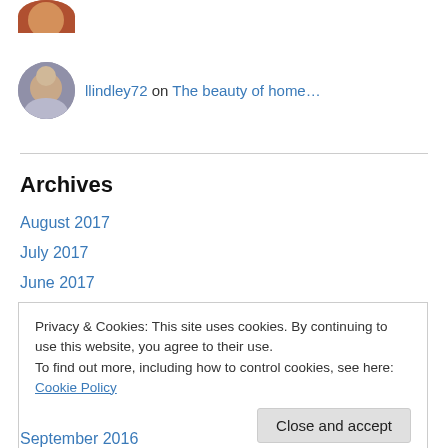[Figure (photo): Avatar photo of a person in red/orange top, cropped circle at top of page]
llindley72 on The beauty of home…
[Figure (photo): Avatar photo of a person with gray/white hair, smiling, cropped circle]
Archives
August 2017
July 2017
June 2017
May 2017
April 2017
Privacy & Cookies: This site uses cookies. By continuing to use this website, you agree to their use. To find out more, including how to control cookies, see here: Cookie Policy
September 2016